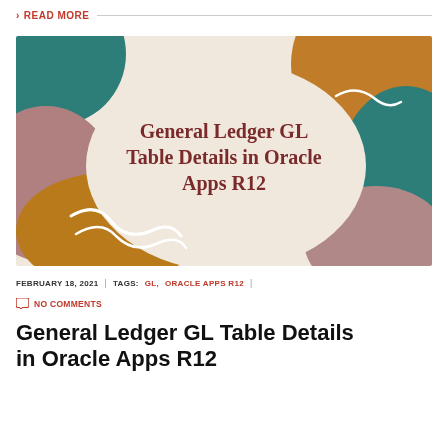> READ MORE
[Figure (illustration): Decorative blog post header image with abstract organic shapes in teal, ochre, mauve, and beige colors on a cream background, with centered serif text reading 'General Ledger GL Table Details in Oracle Apps R12']
FEBRUARY 18, 2021 | TAGS: GL, ORACLE APPS R12 | NO COMMENTS
General Ledger GL Table Details in Oracle Apps R12